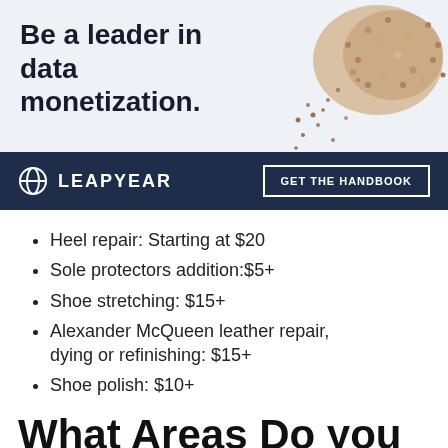[Figure (infographic): Advertisement banner with light blue-gray background showing bold text 'Be a leader in data monetization.' on the left and a crowd of people forming a shape on the right. Bottom bar in dark navy shows LEAPYEAR logo and 'GET THE HANDBOOK' button.]
Heel repair: Starting at $20
Sole protectors addition:$5+
Shoe stretching: $15+
Alexander McQueen leather repair, dying or refinishing: $15+
Shoe polish: $10+
What Areas Do you